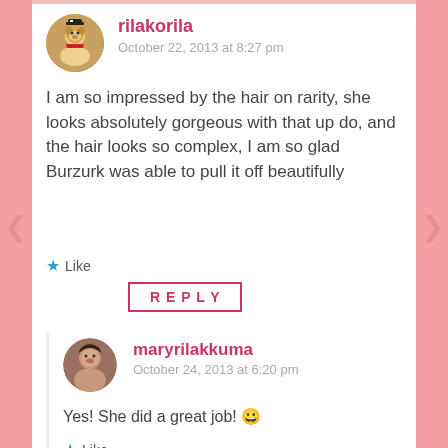rilakorila
October 22, 2013 at 8:27 pm
I am so impressed by the hair on rarity, she looks absolutely gorgeous with that up do, and the hair looks so complex, I am so glad Burzurk was able to pull it off beautifully
★ Like
REPLY
maryrilakkuma
October 24, 2013 at 6:20 pm
Yes! She did a great job! 😀
★ Like